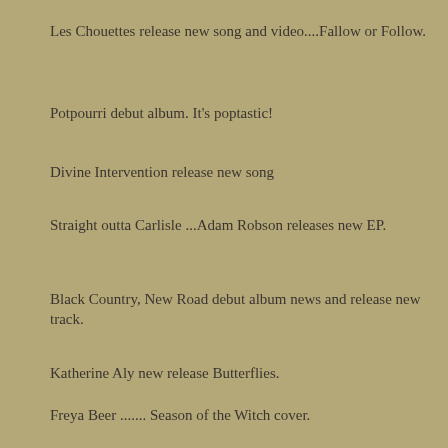Les Chouettes release new song and video....Fallow or Follow.
Potpourri debut album. It's poptastic!
Divine Intervention release new song
Straight outta Carlisle ...Adam Robson releases new EP.
Black Country, New Road debut album news and release new track.
Katherine Aly new release Butterflies.
Freya Beer ....... Season of the Witch cover.
Drab City ... A Clunk Rock and Forth